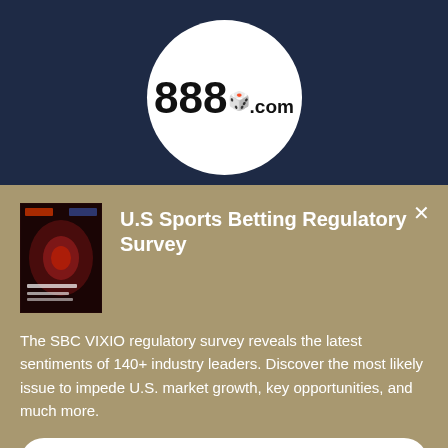[Figure (logo): 888.com logo with red dice, displayed inside a white circle on a dark navy background]
U.S Sports Betting Regulatory Survey
The SBC VIXIO regulatory survey reveals the latest sentiments of 140+ industry leaders. Discover the most likely issue to impede U.S. market growth, key opportunities, and much more.
Download your copy now